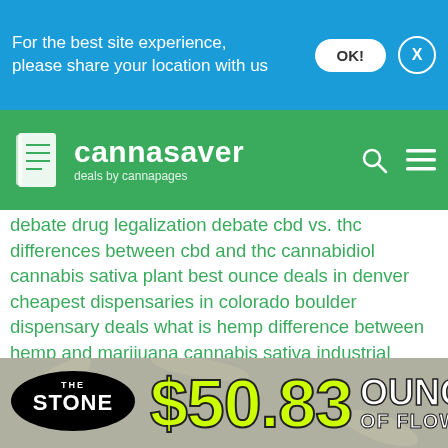For the best site experience, please share your location with us
[Figure (logo): Cannasaver logo - deals by cannapages, on green header bar with search and menu icons]
debate drug legalization debate cbd vs. thc differences between cbd and thc cannabidiol cannabis sativa plant best ounce deals in denver cheapest dispensaries in colorado boulder dispensary deals what is hemp difference between hemp and marijuana cannabis sativa industrial hemp uses many uses of the hemp plant cbd for dogs cbd for pets cannabis and pets cbd for dog seizures pet cbd products difference between cannabis strains cannabis hybrid strains which marijuana strain is best for you indica vs. sativa vs. hybrid cannabis 101 cheap weed in denver cheap ounces in denver cheap weed denver cheapest ounces in denver date night for stoners 420 date night Best 420 friendly Dates 420 tours in denver sex on weed
[Figure (infographic): The Stone dispensary ad banner showing $50.83 ounce of flower deal]